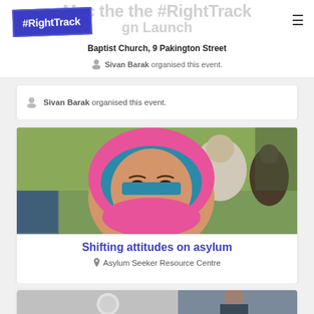Mac the the #RightTrack Campaign Launch
Baptist Church, 9 Pakington Street
Sivan Barak organised this event.
[Figure (photo): Close-up portrait of a woman wearing a bright pink and teal hijab, smiling at the camera. In the background, another woman in a white hijab and a man are visible in a room with a yellow-green wall.]
Shifting attitudes on asylum
Asylum Seeker Resource Centre
[Figure (photo): Partial view of a third event card at the bottom of the page, cut off.]